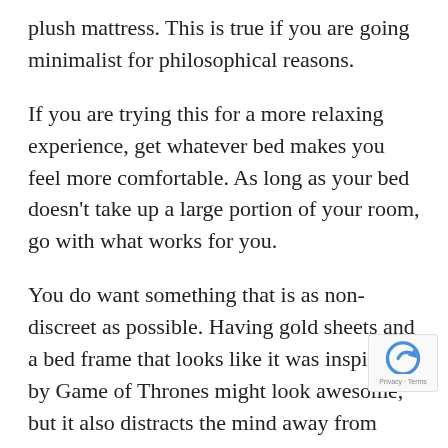plush mattress. This is true if you are going minimalist for philosophical reasons.
If you are trying this for a more relaxing experience, get whatever bed makes you feel more comfortable. As long as your bed doesn't take up a large portion of your room, go with what works for you.
You do want something that is as non-discreet as possible. Having gold sheets and a bed frame that looks like it was inspired by Game of Thrones might look awesome, but it also distracts the mind away from resting.
Also, determine what kind of bedding you would